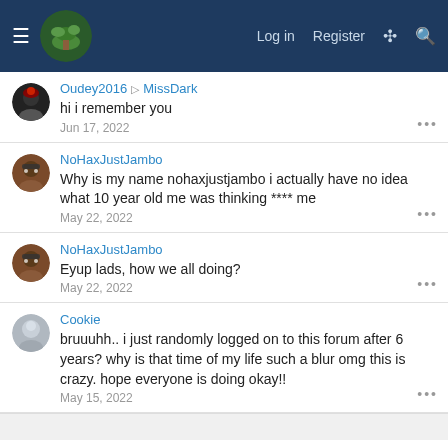Log in  Register
Oudey2016 ▷ MissDark
hi i remember you
Jun 17, 2022
NoHaxJustJambo
Why is my name nohaxjustjambo i actually have no idea what 10 year old me was thinking **** me
May 22, 2022
NoHaxJustJambo
Eyup lads, how we all doing?
May 22, 2022
Cookie
bruuuhh.. i just randomly logged on to this forum after 6 years? why is that time of my life such a blur omg this is crazy. hope everyone is doing okay!!
May 15, 2022
Share this page